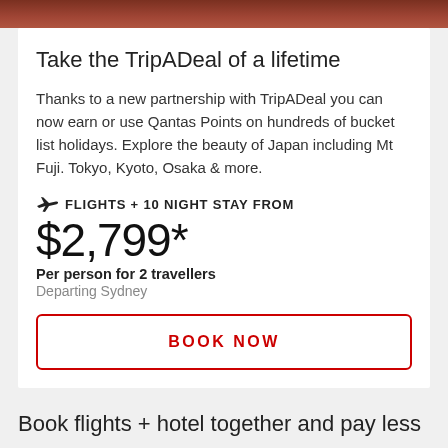[Figure (photo): Top portion of a travel/landscape image, cropped at top]
Take the TripADeal of a lifetime
Thanks to a new partnership with TripADeal you can now earn or use Qantas Points on hundreds of bucket list holidays. Explore the beauty of Japan including Mt Fuji. Tokyo, Kyoto, Osaka & more.
✈ FLIGHTS + 10 NIGHT STAY FROM
$2,799*
Per person for 2 travellers
Departing Sydney
BOOK NOW
Book flights + hotel together and pay less